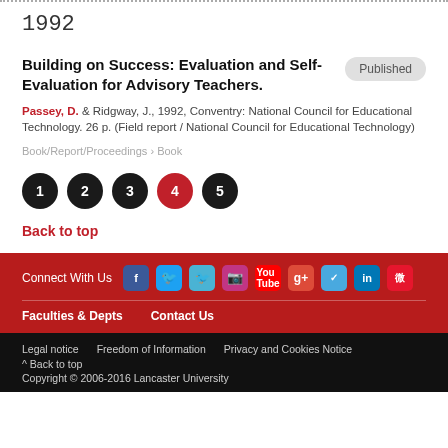1992
Building on Success: Evaluation and Self-Evaluation for Advisory Teachers.
Passey, D. & Ridgway, J., 1992, Conventry: National Council for Educational Technology. 26 p. (Field report / National Council for Educational Technology)
Book/Report/Proceedings › Book
1 2 3 4 5
Back to top
Connect With Us  Faculties & Depts  Contact Us  Legal notice  Freedom of Information  Privacy and Cookies Notice  ^ Back to top  Copyright © 2006-2016 Lancaster University